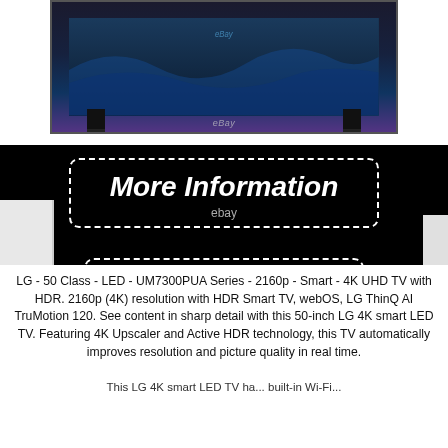[Figure (photo): LG 4K Smart TV product photo showing the television set from the front, with eBay watermark]
More Information
ebay
View Price
ebay
LG - 50 Class - LED - UM7300PUA Series - 2160p - Smart - 4K UHD TV with HDR. 2160p (4K) resolution with HDR Smart TV, webOS, LG ThinQ AI TruMotion 120. See content in sharp detail with this 50-inch LG 4K smart LED TV. Featuring 4K Upscaler and Active HDR technology, this TV automatically improves resolution and picture quality in real time.
This LG 4K smart LED TV has a built-in Wi-Fi...